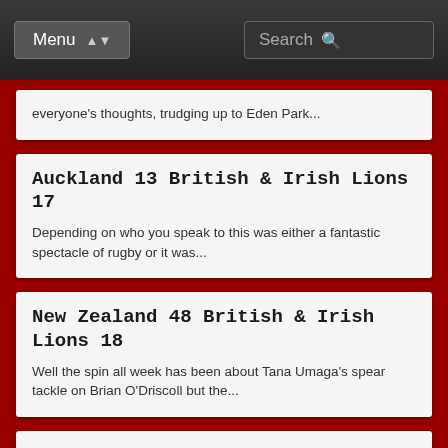Menu | Search
everyone's thoughts, trudging up to Eden Park...
Auckland 13 British & Irish Lions 17
Depending on who you speak to this was either a fantastic spectacle of rugby or it was...
New Zealand 48 British & Irish Lions 18
Well the spin all week has been about Tana Umaga's spear tackle on Brian O'Driscoll but the...
Manawatu 6 British & Irish Lions 109
A cricket score it may have been, but had the Lions not comprehensively defeated the local side...
New Zealand 23 British & Irish Lions 0